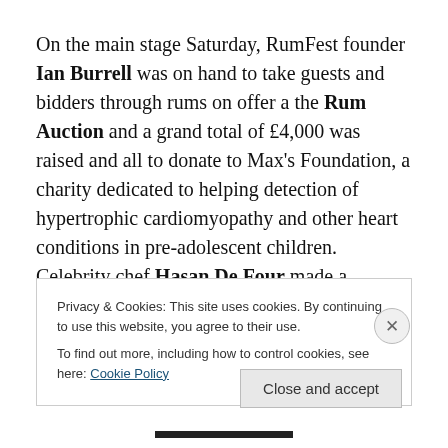On the main stage Saturday, RumFest founder Ian Burrell was on hand to take guests and bidders through rums on offer a the Rum Auction and a grand total of £4,000 was raised and all to donate to Max's Foundation, a charity dedicated to helping detection of hypertrophic cardiomyopathy and other heart conditions in pre-adolescent children. Celebrity chef Hasan De Four made a RumFest return and cooked up a storm to
Privacy & Cookies: This site uses cookies. By continuing to use this website, you agree to their use.
To find out more, including how to control cookies, see here: Cookie Policy
Close and accept